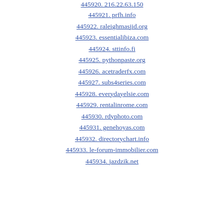445920. 216.22.63.150
445921. prfh.info
445922. raleighmasjid.org
445923. essentialibiza.com
445924. sttinfo.fi
445925. pythonpaste.org
445926. acetraderfx.com
445927. subs4series.com
445928. everydayelsie.com
445929. rentalinrome.com
445930. rdyphoto.com
445931. genehoyas.com
445932. directorychart.info
445933. le-forum-immobilier.com
445934. jazdzik.net